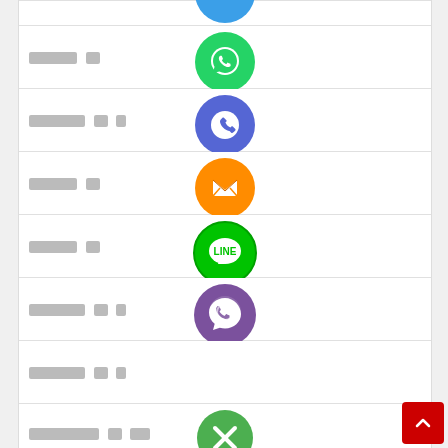▓▓▓▓▓▓ [WhatsApp icon]
▓▓▓▓▓▓▓▓ [Phone/Call icon]
▓▓▓▓▓▓ [Email/Message icon]
▓▓▓▓▓▓ [LINE icon]
▓▓▓▓▓▓▓▓ [Viber icon]
▓▓▓▓▓▓▓▓ [Viber icon 2]
▓▓▓▓▓▓▓▓▓▓ [Cancel/X icon]
[Figure (other): Scroll to top red button with up arrow]